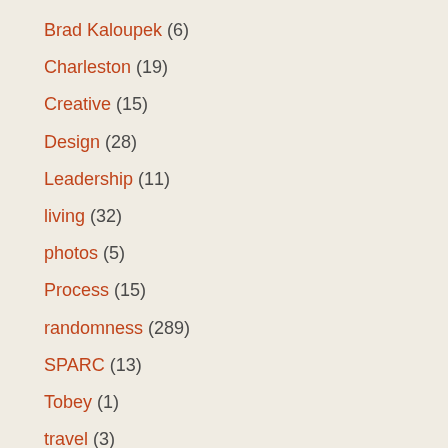Brad Kaloupek (6)
Charleston (19)
Creative (15)
Design (28)
Leadership (11)
living (32)
photos (5)
Process (15)
randomness (289)
SPARC (13)
Tobey (1)
travel (3)
Uncategorized (4)
Visuals (4)